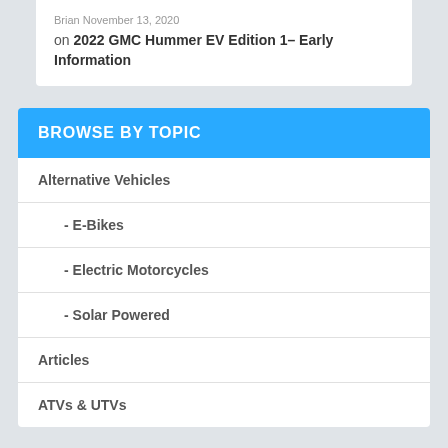Brian November 13, 2020
on 2022 GMC Hummer EV Edition 1– Early Information
BROWSE BY TOPIC
Alternative Vehicles
- E-Bikes
- Electric Motorcycles
- Solar Powered
Articles
ATVs & UTVs